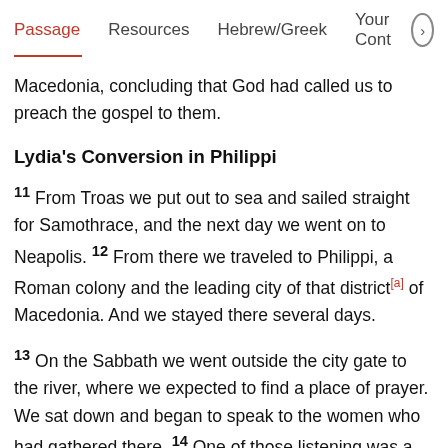Passage   Resources   Hebrew/Greek   Your Cont >
Macedonia, concluding that God had called us to preach the gospel to them.
Lydia's Conversion in Philippi
11 From Troas we put out to sea and sailed straight for Samothrace, and the next day we went on to Neapolis. 12 From there we traveled to Philippi, a Roman colony and the leading city of that district[a] of Macedonia. And we stayed there several days.
13 On the Sabbath we went outside the city gate to the river, where we expected to find a place of prayer. We sat down and began to speak to the women who had gathered there. 14 One of those listening was a woman from the city of Thyatira